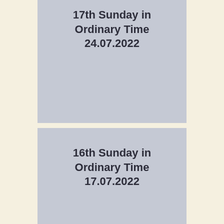[Figure (illustration): Gray card panel showing '17th Sunday in Ordinary Time 24.07.2022' text, partially cropped at top]
[Figure (illustration): Gray card panel showing '16th Sunday in Ordinary Time 17.07.2022' text]